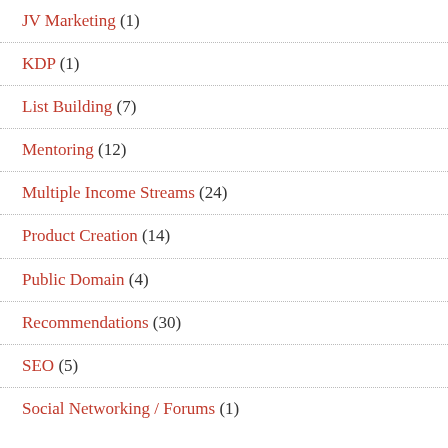JV Marketing (1)
KDP (1)
List Building (7)
Mentoring (12)
Multiple Income Streams (24)
Product Creation (14)
Public Domain (4)
Recommendations (30)
SEO (5)
Social Networking / Forums (1)